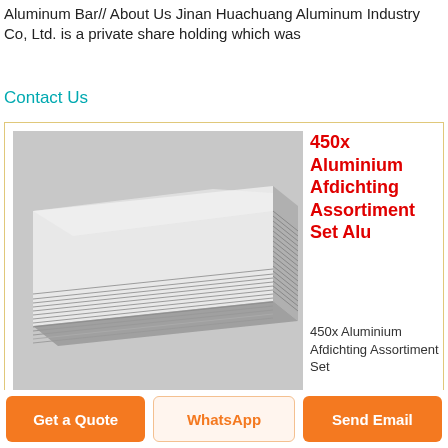Aluminum Bar// About Us Jinan Huachuang Aluminum Industry Co, Ltd. is a private share holding which was
Contact Us
[Figure (photo): Stack of aluminum sheets/plates photographed at an angle, showing metallic silver surface and layered edges]
450x Aluminium Afdichting Assortiment Set Alu
450x Aluminium Afdichting Assortiment Set Alu Zeehonden Olie Koperen Ringen Aluminium Schijven, Find Complete Details about 450x Aluminium Afdichting Assortiment Set Alu Zeehonden Olie Koperen Ringen Aluminium Schijven, Aluminium Afdichting Assortiment Set from Seals
Get a Quote
WhatsApp
Send Email